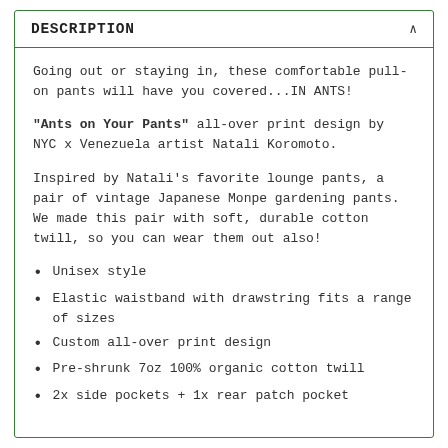DESCRIPTION
Going out or staying in, these comfortable pull-on pants will have you covered...IN ANTS!
"Ants on Your Pants" all-over print design by NYC x Venezuela artist Natali Koromoto.
Inspired by Natali's favorite lounge pants, a pair of vintage Japanese Monpe gardening pants. We made this pair with soft, durable cotton twill, so you can wear them out also!
Unisex style
Elastic waistband with drawstring fits a range of sizes
Custom all-over print design
Pre-shrunk 7oz 100% organic cotton twill
2x side pockets + 1x rear patch pocket